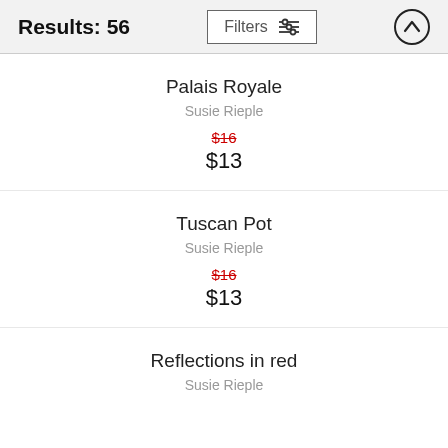Results: 56
Palais Royale
Susie Rieple
$16 (strikethrough)
$13
Tuscan Pot
Susie Rieple
$16 (strikethrough)
$13
Reflections in red
Susie Rieple